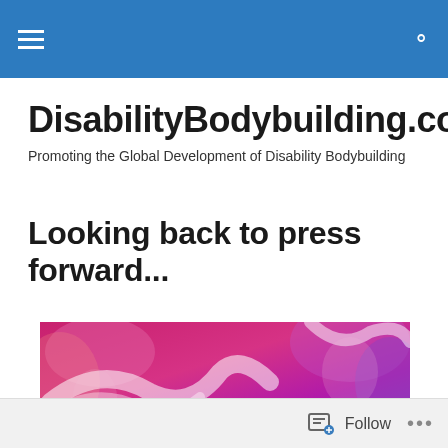DisabilityBodybuilding.com — navigation header with hamburger menu and search icon
DisabilityBodybuilding.com
Promoting the Global Development of Disability Bodybuilding
Looking back to press forward...
[Figure (photo): Featured article image showing abstract pink/magenta watercolor or paint background with white streaks and the word LOOKING in large white letters at the bottom]
Follow ...